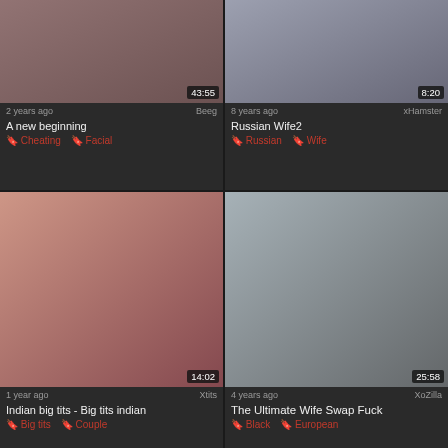[Figure (screenshot): Video thumbnail grid - top left card: 'A new beginning', 2 years ago, Beeg, 43:55, tags: Cheating, Facial]
[Figure (screenshot): Video thumbnail grid - top right card: 'Russian Wife2', 8 years ago, xHamster, 8:20, tags: Russian, Wife]
[Figure (screenshot): Video thumbnail grid - middle left card: 'Indian big tits - Big tits indian', 1 year ago, Xtits, 14:02, tags: Big tits, Couple]
[Figure (screenshot): Video thumbnail grid - middle right card: 'The Ultimate Wife Swap Fuck', 4 years ago, XoZilla, 25:58, tags: Black, European]
[Figure (screenshot): Video thumbnail grid - bottom left card with Advertisement overlay and close button]
[Figure (screenshot): Video thumbnail grid - bottom right card]